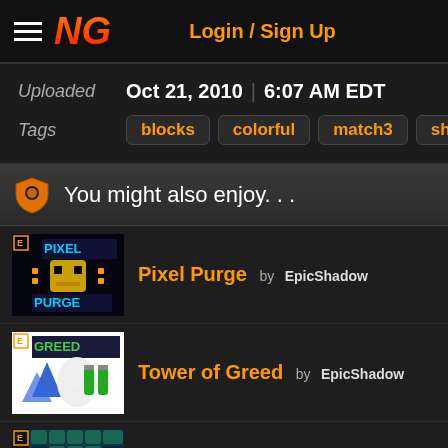NG | Login / Sign Up
Uploaded Oct 21, 2010 | 6:07 AM EDT
Tags: blocks  colorful  match3  shatter
You might also enjoy...
Pixel Purge by EpicShadow
Tower of Greed by EpicShadow
Traverse by EpicShadow